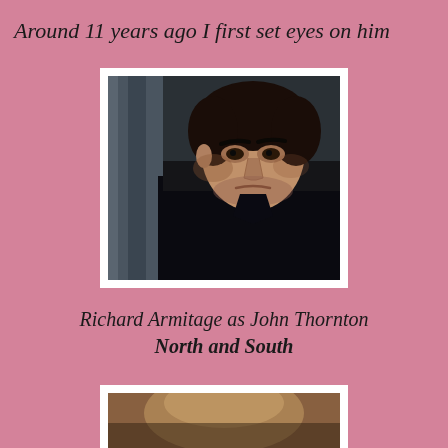Around 11 years ago I first set eyes on him
[Figure (photo): Photo of Richard Armitage as John Thornton from North and South, wearing a dark coat and cravat, with a serious brooding expression, dark hair, looking downward slightly]
Richard Armitage as John Thornton
North and South
[Figure (photo): Partial photo of a person, cropped at the bottom edge of the page]